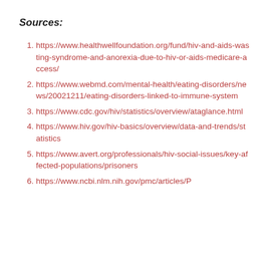Sources:
https://www.healthwellfoundation.org/fund/hiv-and-aids-wasting-syndrome-and-anorexia-due-to-hiv-or-aids-medicare-access/
https://www.webmd.com/mental-health/eating-disorders/news/20021211/eating-disorders-linked-to-immune-system
https://www.cdc.gov/hiv/statistics/overview/ataglance.html
https://www.hiv.gov/hiv-basics/overview/data-and-trends/statistics
https://www.avert.org/professionals/hiv-social-issues/key-affected-populations/prisoners
https://www.ncbi.nlm.nih.gov/pmc/articles/P